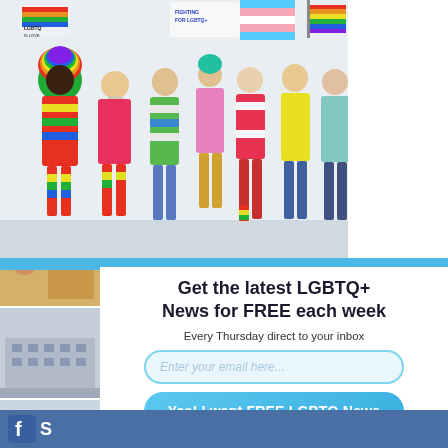[Figure (photo): Left column top thumbnail: two people in business attire]
[Figure (photo): Left column second thumbnail: black and white portrait of a person]
[Figure (photo): Top banner: group of LGBTQ+ activists with rainbow flags and signs]
[Figure (photo): Left column third thumbnail: newspaper/poster with LADRAO text and photo]
[Figure (photo): Left column fourth thumbnail: large grey stone building exterior]
[Figure (photo): Left column fifth thumbnail: man standing outdoors near red post]
Get the latest LGBTQ+ News for FREE each week
Every Thursday direct to your inbox
Enter your email here...
Yes! I want FREE LGBTQ News